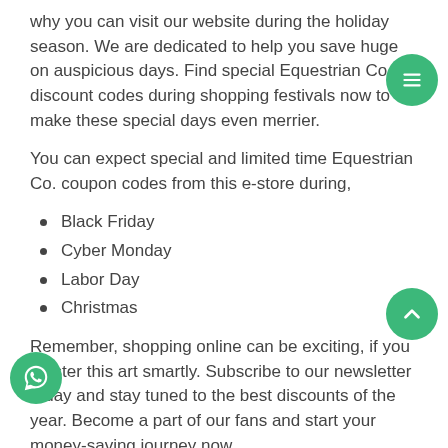why you can visit our website during the holiday season. We are dedicated to help you save huge on auspicious days. Find special Equestrian Co. discount codes during shopping festivals now to make these special days even merrier.
You can expect special and limited time Equestrian Co. coupon codes from this e-store during,
Black Friday
Cyber Monday
Labor Day
Christmas
Remember, shopping online can be exciting, if you master this art smartly. Subscribe to our newsletter today and stay tuned to the best discounts of the year. Become a part of our fans and start your money-saving journey now.